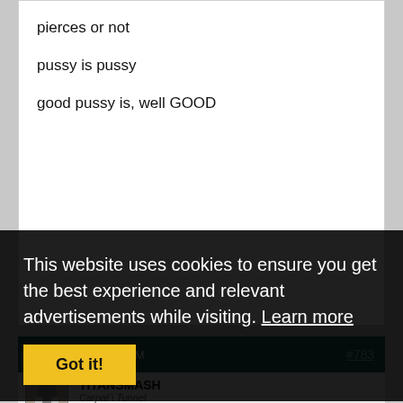pierces or not

pussy is pussy

good pussy is, well GOOD
08-10-2010, 12:45 AM  #783
TITANSMASH
Carpal \ Tunnel
This website uses cookies to ensure you get the best experience and relevant advertisements while visiting. Learn more
Got it!
You're so emo girl. For reals. I can see why this wouldn't bother you.
I find facial piercings on the right girl very attractive.